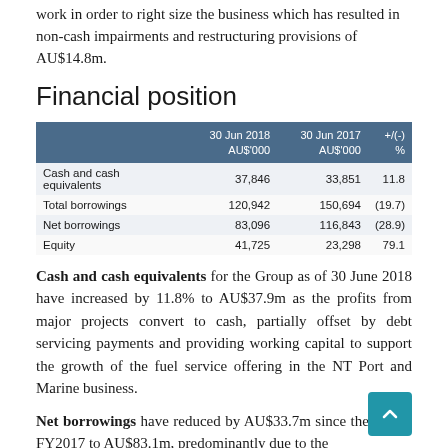work in order to right size the business which has resulted in non-cash impairments and restructuring provisions of AU$14.8m.
Financial position
|  | 30 Jun 2018
AU$'000 | 30 Jun 2017
AU$'000 | +/(-)
% |
| --- | --- | --- | --- |
| Cash and cash equivalents | 37,846 | 33,851 | 11.8 |
| Total borrowings | 120,942 | 150,694 | (19.7) |
| Net borrowings | 83,096 | 116,843 | (28.9) |
| Equity | 41,725 | 23,298 | 79.1 |
Cash and cash equivalents for the Group as of 30 June 2018 have increased by 11.8% to AU$37.9m as the profits from major projects convert to cash, partially offset by debt servicing payments and providing working capital to support the growth of the fuel service offering in the NT Port and Marine business.
Net borrowings have reduced by AU$33.7m since the end of FY2017 to AU$83.1m, predominantly due to the